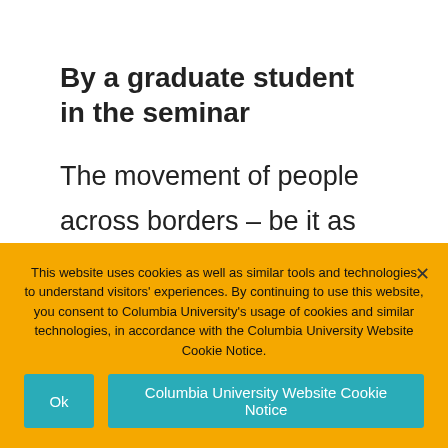By a graduate student in the seminar
The movement of people across borders – be it as migrant, asylum seekers, or refugees – has emerged as a major issue of
This website uses cookies as well as similar tools and technologies to understand visitors' experiences. By continuing to use this website, you consent to Columbia University's usage of cookies and similar technologies, in accordance with the Columbia University Website Cookie Notice.
Ok
Columbia University Website Cookie Notice